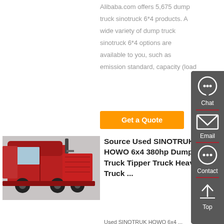Alibaba.com offers 5,675 dump truck sinotruck 6*4 products. A wide variety of dump truck sinotruck 6*4 options are available to you, such as emission standard, capacity (load
[Figure (other): Orange 'Get a Quote' button]
[Figure (photo): Red SINOTRUK HOWO dump truck tipper side view]
Source Used SINOTRUK HOWO 6x4 380hp Dump Truck Tipper Truck Heavy Truck ...
Used SINOTRUK HOWO 6x4 ...
[Figure (infographic): Right sidebar with Chat, Email, Contact, Top buttons on dark grey background]